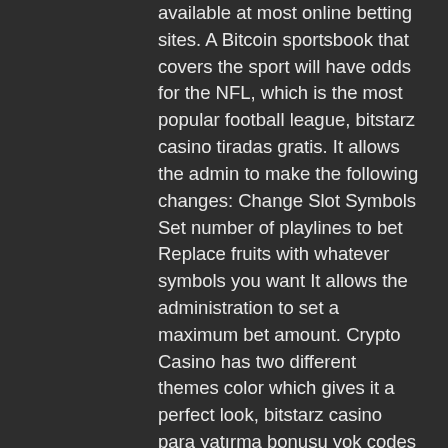available at most online betting sites. A Bitcoin sportsbook that covers the sport will have odds for the NFL, which is the most popular football league, bitstarz casino tiradas gratis. It allows the admin to make the following changes: Change Slot Symbols Set number of playlines to bet Replace fruits with whatever symbols you want It allows the administration to set a maximum bet amount. Crypto Casino has two different themes color which gives it a perfect look, bitstarz casino para yatırma bonusu yok codes november 2022. Please contact operator for accurate information. Buy Sell Bitcoin 12, bitstarz casino kein einzahlungsbonus 2022. Consequently, during our review, we check all these and more. We look at a site's history to see if it has any significant problems, bitstarz casino ingen insättningsbonus codes 2022. If you're into these games, then BitCasino is exactly what